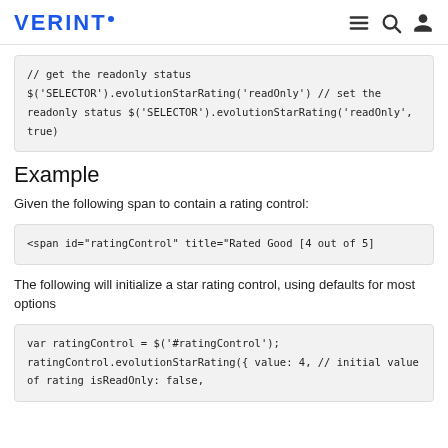VERINT.
// get the readonly status
$('SELECTOR').evolutionStarRating('readOnly')

// set the readonly status
$('SELECTOR').evolutionStarRating('readOnly', true)
Example
Given the following span to contain a rating control:
<span id="ratingControl" title="Rated Good [4 out of 5]
The following will initialize a star rating control, using defaults for most options
var ratingControl = $('#ratingControl');
ratingControl.evolutionStarRating({
    value: 4,  //  initial value of rating
    isReadOnly: false,